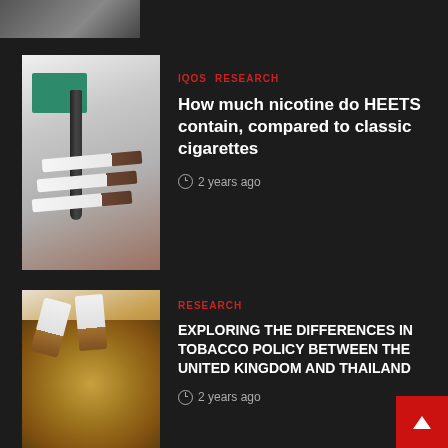[Figure (photo): Partial top strip image, partially visible]
[Figure (photo): IQOS device and cigarettes on white background with green box]
IQOS  RESEARCH
How much nicotine do HEETS contain, compared to classic cigarettes
2 years ago
[Figure (photo): Loose tobacco and cut cigarettes on wooden surface]
RESEARCH
EXPLORING THE DIFFERENCES IN TOBACCO POLICY BETWEEN THE UNITED KINGDOM AND THAILAND
2 years ago